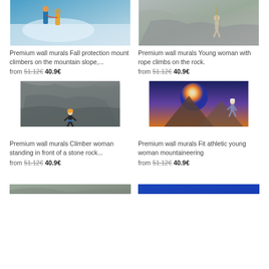[Figure (photo): Two mountain climbers with ropes and gear on a snowy mountain slope, colorful jackets]
Premium wall murals Fall protection mount climbers on the mountain slope,...
from 51.12€ 40.9€
[Figure (photo): Young woman climbing on a rocky cliff face with rope]
Premium wall murals Young woman with rope climbs on the rock.
from 51.12€ 40.9€
[Figure (photo): Climber woman standing in front of a large stone rock face, wearing helmet and harness]
Premium wall murals Climber woman standing in front of a stone rock...
from 51.12€ 40.9€
[Figure (photo): Fit athletic young woman mountaineering at sunset, dramatic sky with mountain peaks]
Premium wall murals Fit athletic young woman mountaineering
from 51.12€ 40.9€
[Figure (photo): Partial view of a rock climbing scene at the bottom of the page]
[Figure (photo): Partial view of a blue-toned image at bottom right]